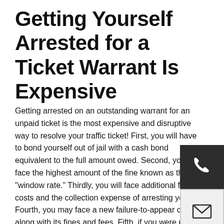Getting Yourself Arrested for a Ticket Warrant Is Expensive
Getting arrested on an outstanding warrant for an unpaid ticket is the most expensive and disruptive way to resolve your traffic ticket! First, you will have to bond yourself out of jail with a cash bond equivalent to the full amount owed. Second, you will face the highest amount of the fine known as the "window rate." Thirdly, you will face additional fees, costs and the collection expense of arresting you. Fourth, you may face a new failure-to-appear charge along with its fines and fees. Fifth, if you were pulled over while driving and arrested, your car might be impounded and you might face towing and impound fees to get it back. Sixth, you could also face significant State of Texas surcharges. Plus, you will lose more money from the resulting time away from work, plus the embarrassment of being arrested. This is the worst and most expensive of all possible outcomes.
[Figure (other): Phone icon widget - dark background with telephone handset icon in white]
[Figure (other): Mail/envelope icon widget - light grey background with envelope icon]